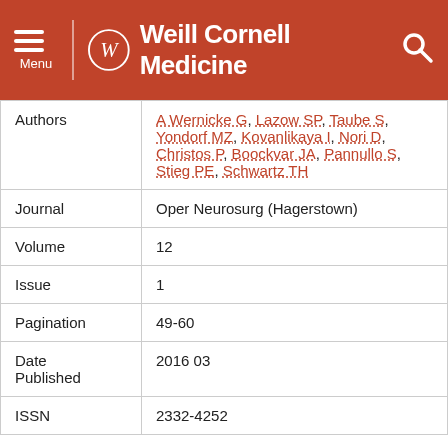Weill Cornell Medicine
| Field | Value |
| --- | --- |
| Authors | A Wernicke G, Lazow SP, Taube S, Yondorf MZ, Kovanlikaya I, Nori D, Christos P, Boockvar JA, Pannullo S, Stieg PE, Schwartz TH |
| Journal | Oper Neurosurg (Hagerstown) |
| Volume | 12 |
| Issue | 1 |
| Pagination | 49-60 |
| Date Published | 2016 03 |
| ISSN | 2332-4252 |